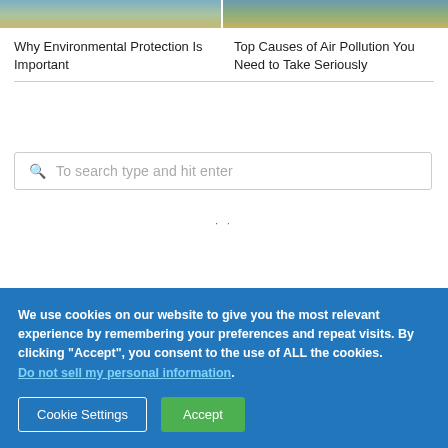[Figure (photo): Two side-by-side article thumbnail images — left shows a coastal/beach nature scene, right shows a similar outdoor scene]
Why Environmental Protection Is Important
Top Causes of Air Pollution You Need to Take Seriously
[Figure (screenshot): Search input box with placeholder text 'To search type and hit enter']
We use cookies on our website to give you the most relevant experience by remembering your preferences and repeat visits. By clicking “Accept”, you consent to the use of ALL the cookies.
Do not sell my personal information.
Cookie Settings
Accept